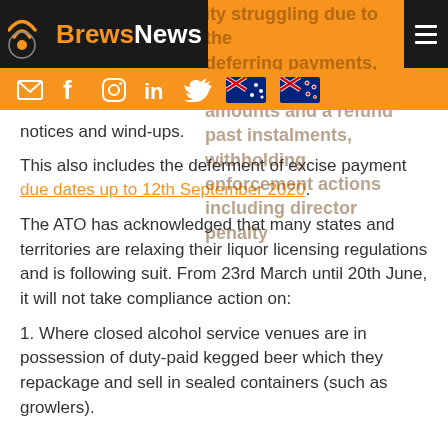BrewsNews
currently struggling due to the deferring payments, varying amounts and a refund past instalments, withholding enforcement actions including director penalty notices and wind-ups.
This also includes the deferment of excise payment due dates up to 12th September 2020.
The ATO has acknowledged that many states and territories are relaxing their liquor licensing regulations and is following suit. From 23rd March until 20th June, it will not take compliance action on:
1. Where closed alcohol service venues are in possession of duty-paid kegged beer which they repackage and sell in sealed containers (such as growlers).